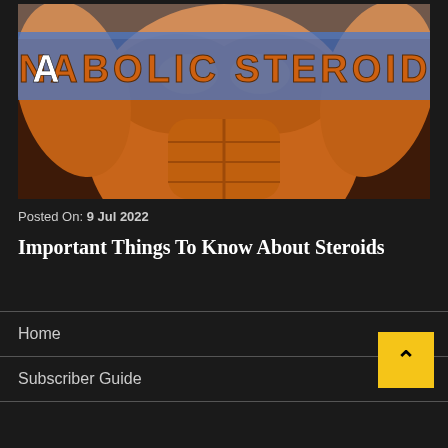[Figure (photo): Banner image showing a muscular torso with 'ANABOLIC STEROIDS' text overlaid on a blue semi-transparent bar]
Posted On: 9 Jul 2022
Important Things To Know About Steroids
Home
Subscriber Guide